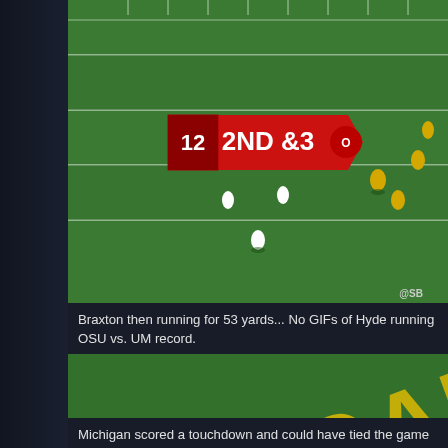[Figure (screenshot): Aerial view of American football game with on-screen graphic showing '12 2ND & 3' with Ohio State logo, players on green field, Michigan players in yellow/black uniforms visible]
Braxton then running for 53 yards... No GIFs of Hyde running OSU vs. UM record.
[Figure (screenshot): Aerial view of football game on Michigan field with large yellow 'MICHIGAN' text painted on green field, Ohio State players in white uniforms vs Michigan players in yellow/black, referee visible, score graphic at bottom showing 'M 21 PT.COM' watermark '@SB']
Michigan scored a touchdown and could have tied the game